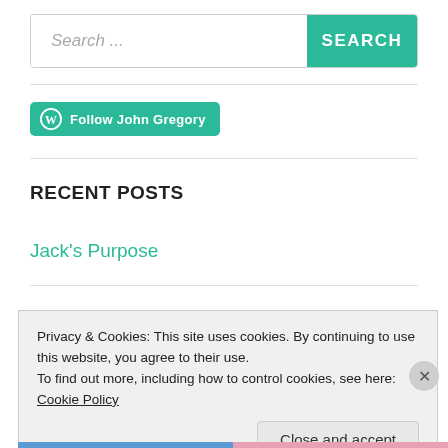[Figure (screenshot): Search bar with text input placeholder 'Search ...' and a teal SEARCH button]
[Figure (screenshot): Teal WordPress Follow button labeled 'Follow John Gregory']
RECENT POSTS
Jack's Purpose
Privacy & Cookies: This site uses cookies. By continuing to use this website, you agree to their use.
To find out more, including how to control cookies, see here: Cookie Policy
Close and accept